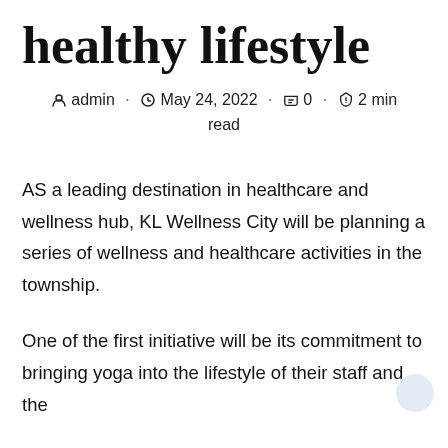healthy lifestyle
admin · May 24, 2022 · 0 · 2 min read
AS a leading destination in healthcare and wellness hub, KL Wellness City will be planning a series of wellness and healthcare activities in the township.
One of the first initiative will be its commitment to bringing yoga into the lifestyle of their staff and the